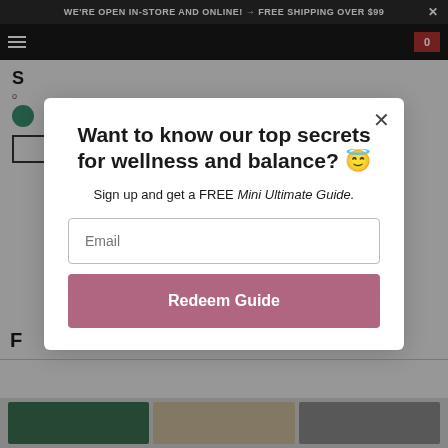WE'RE OPEN IN-STORE AND ONLINE! + FREE SHIPPING OVER $99
Want to know our top secrets for wellness and balance? 😇
Sign up and get a FREE Mini Ultimate Guide.
Email
Redeem Guide